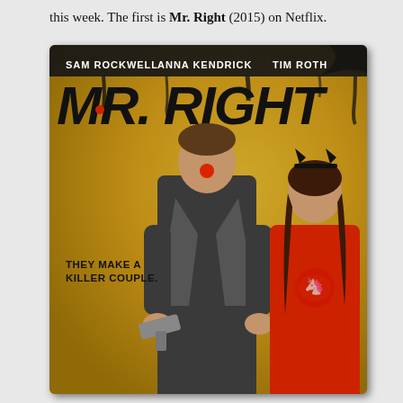this week. The first is Mr. Right (2015) on Netflix.
[Figure (photo): DVD/Blu-ray cover of Mr. Right (2015) featuring Sam Rockwell and Anna Kendrick. Yellow/golden background with dripping black paint at top. Sam Rockwell wears a suit and red clown nose, holding a gun. Anna Kendrick wears a red shirt and cat ear headband. Text reads: SAM ROCKWELL ANNA KENDRICK TIM ROTH, MR. RIGHT, THEY MAKE A KILLER COUPLE.]